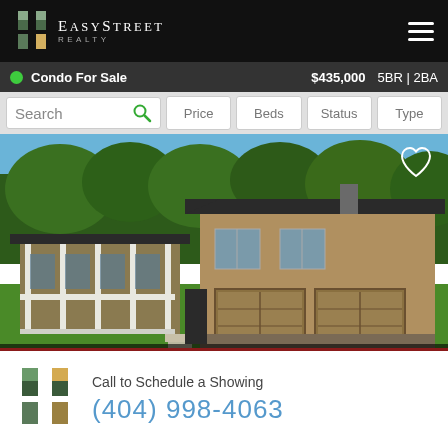EasyStreet Realty
Condo For Sale  $435,000  5BR | 2BA
Search  Price  Beds  Status  Type
[Figure (photo): Single-story ranch house with covered porch, stone foundation and double garage, surrounded by green lawn and trees]
Pending  $275,000  4BR | 2BA
25 Photos  6625 Peppermill Ln, South Fulton 30349
Call to Schedule a Showing
(404) 998-4063